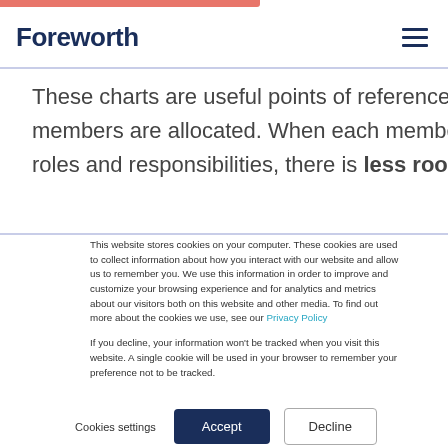Foreworth
These charts are useful points of reference to keep track of how members are allocated. When each member of the team knows their roles and responsibilities, there is less room for confusion
This website stores cookies on your computer. These cookies are used to collect information about how you interact with our website and allow us to remember you. We use this information in order to improve and customize your browsing experience and for analytics and metrics about our visitors both on this website and other media. To find out more about the cookies we use, see our Privacy Policy

If you decline, your information won't be tracked when you visit this website. A single cookie will be used in your browser to remember your preference not to be tracked.
Cookies settings  Accept  Decline